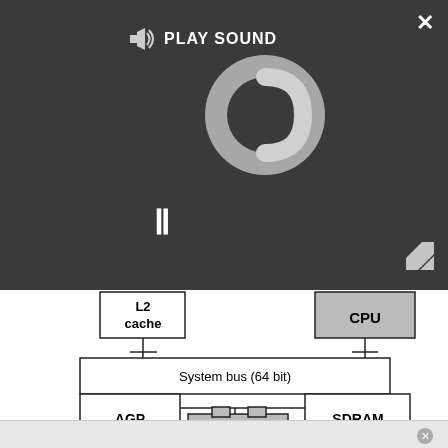[Figure (screenshot): A media player overlay with dark background showing a spinning loading circle, pause button (II), and 'PLAY SOUND' label with speaker icon. An X close button in the top right corner and a resize icon at bottom right.]
[Figure (schematic): Computer architecture diagram showing CPU, L2 cache, SDRAM, AGP, and North bridge components connected via System bus (64 bit). The CPU and North bridge boxes are shaded grey. Components are connected with lines representing buses.]